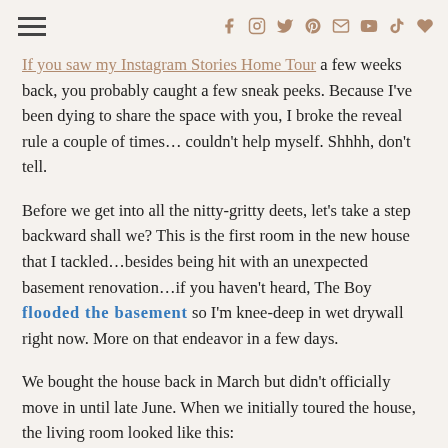Navigation and social icons header
[Figure (photo): Partial hero/banner image visible at top of page, muted warm tones]
If you saw my Instagram Stories Home Tour a few weeks back, you probably caught a few sneak peeks. Because I've been dying to share the space with you, I broke the reveal rule a couple of times… couldn't help myself. Shhhh, don't tell.
Before we get into all the nitty-gritty deets, let's take a step backward shall we? This is the first room in the new house that I tackled…besides being hit with an unexpected basement renovation…if you haven't heard, The Boy flooded the basement so I'm knee-deep in wet drywall right now. More on that endeavor in a few days.
We bought the house back in March but didn't officially move in until late June. When we initially toured the house, the living room looked like this: